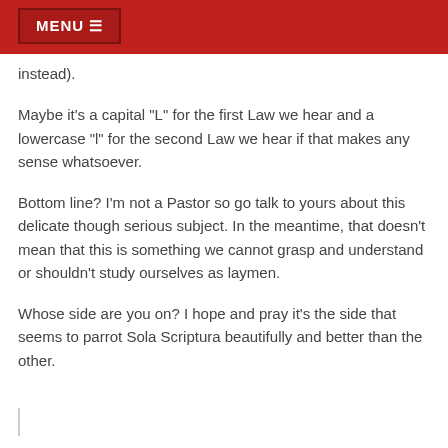MENU ≡
instead).
Maybe it's a capital "L" for the first Law we hear and a lowercase "l" for the second Law we hear if that makes any sense whatsoever.
Bottom line? I'm not a Pastor so go talk to yours about this delicate though serious subject. In the meantime, that doesn't mean that this is something we cannot grasp and understand or shouldn't study ourselves as laymen.
Whose side are you on? I hope and pray it's the side that seems to parrot Sola Scriptura beautifully and better than the other.